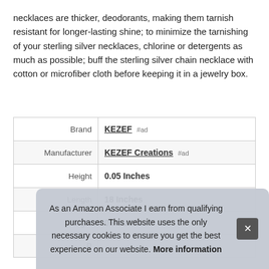necklaces are thicker, deodorants, making them tarnish resistant for longer-lasting shine; to minimize the tarnishing of your sterling silver necklaces, chlorine or detergents as much as possible; buff the sterling silver chain necklace with cotton or microfiber cloth before keeping it in a jewelry box.
|  |  |
| --- | --- |
| Brand | KEZEF #ad |
| Manufacturer | KEZEF Creations #ad |
| Height | 0.05 Inches |
| Length | 18 Inches |
| Weight | 0 Pounds |
| P |  |
As an Amazon Associate I earn from qualifying purchases. This website uses the only necessary cookies to ensure you get the best experience on our website. More information